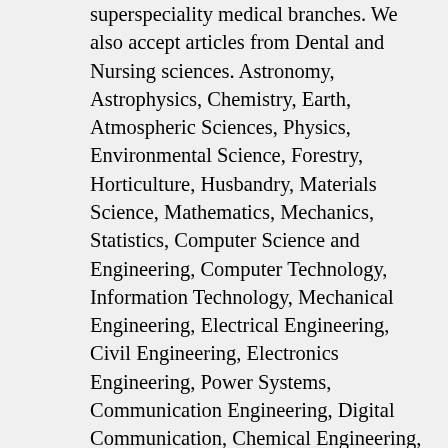superspeciality medical branches. We also accept articles from Dental and Nursing sciences. Astronomy, Astrophysics, Chemistry, Earth, Atmospheric Sciences, Physics, Environmental Science, Forestry, Horticulture, Husbandry, Materials Science, Mathematics, Mechanics, Statistics, Computer Science and Engineering, Computer Technology, Information Technology, Mechanical Engineering, Electrical Engineering, Civil Engineering, Electronics Engineering, Power Systems, Communication Engineering, Digital Communication, Chemical Engineering, Automobile Engineering, Petro-Chemical, Industrial Engineering and Management, Industrial Production Engineering, Environmental Engineering, Management, Marketing, Finance, Economics, Banking, Accounting, Human Resources Management, International Business, Hotel and Tourism, Entrepreneurship Development, Business Ethics, Development Studies, Anthropology, Communication Studies, Corporate Governance, Criminology, Cross-Cultural Studies, Demography, Education, Ethics, Geography, History, Industrial Relations, Information Science, International